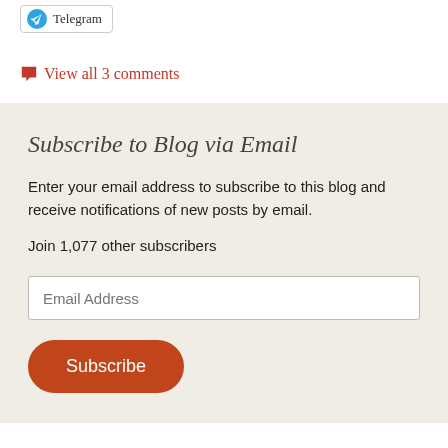[Figure (other): Telegram share button with blue Telegram icon]
View all 3 comments
Subscribe to Blog via Email
Enter your email address to subscribe to this blog and receive notifications of new posts by email.
Join 1,077 other subscribers
[Figure (other): Email Address input field]
[Figure (other): Subscribe button (orange rounded rectangle)]